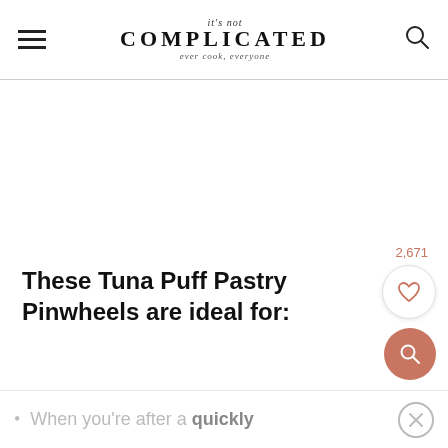it's not COMPLICATED · ever cook, everyone
These Tuna Puff Pastry Pinwheels are ideal for:
When you're after a quickly